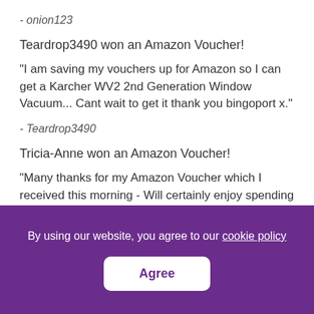- onion123
Teardrop3490 won an Amazon Voucher!
"I am saving my vouchers up for Amazon so I can get a Karcher WV2 2nd Generation Window Vacuum... Cant wait to get it thank you bingoport x."
- Teardrop3490
Tricia-Anne won an Amazon Voucher!
"Many thanks for my Amazon Voucher which I received this morning - Will certainly enjoy spending it."
- Tricia-A
By using our website, you agree to our cookie policy
Agree